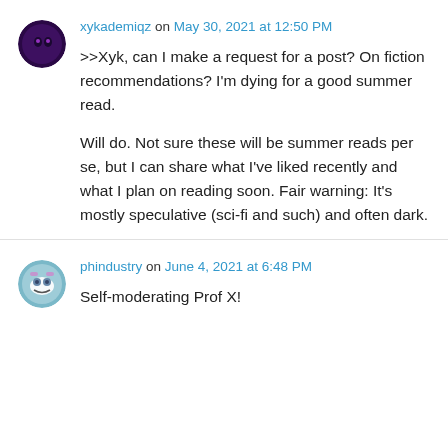xykademiqz on May 30, 2021 at 12:50 PM
>>Xyk, can I make a request for a post? On fiction recommendations? I'm dying for a good summer read.

Will do. Not sure these will be summer reads per se, but I can share what I've liked recently and what I plan on reading soon. Fair warning: It's mostly speculative (sci-fi and such) and often dark.
phindustry on June 4, 2021 at 6:48 PM
Self-moderating Prof X!